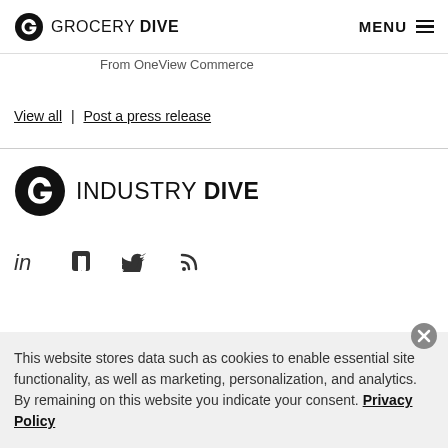GROCERY DIVE | MENU
From OneView Commerce
View all | Post a press release
[Figure (logo): Industry Dive logo with circular 'D' icon]
[Figure (infographic): Social media icons: LinkedIn, Facebook, Twitter, RSS]
This website stores data such as cookies to enable essential site functionality, as well as marketing, personalization, and analytics. By remaining on this website you indicate your consent. Privacy Policy